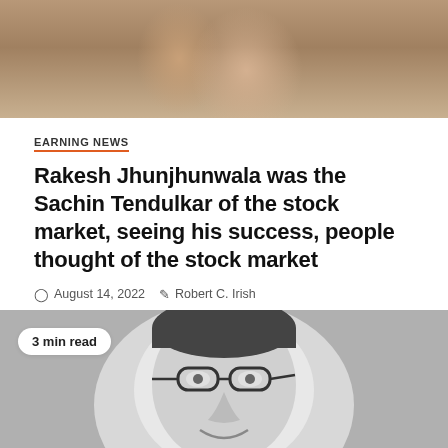[Figure (photo): Top portion of a photo showing a person in colorful/festive attire, cropped at the top of the page.]
EARNING NEWS
Rakesh Jhunjhunwala was the Sachin Tendulkar of the stock market, seeing his success, people thought of the stock market
August 14, 2022   Robert C. Irish
[Figure (photo): Black and white portrait photograph of a man wearing glasses and a suit, with a '3 min read' badge overlay and an orange scroll-to-top button in the bottom right corner.]